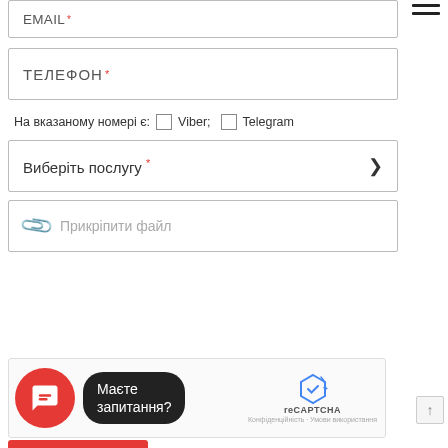EMAIL *
ТЕЛЕФОН *
На вказаному номері є:  Viber;  Telegram
Виберіть послугу *
Прикріпити файл
ПРИМІТКА
[Figure (screenshot): reCAPTCHA widget with red chat button and tooltip bubble saying 'Маєте запитання?' and reCAPTCHA logo with privacy/terms links in Ukrainian]